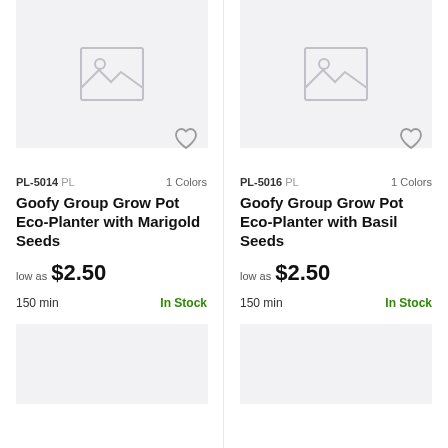[Figure (screenshot): Product image placeholder for PL-5014]
PL-5014 PL   1 Colors
Goofy Group Grow Pot Eco-Planter with Marigold Seeds
low as $2.50
150 min   In Stock
[Figure (screenshot): Product image placeholder for PL-5016]
PL-5016 PL   1 Colors
Goofy Group Grow Pot Eco-Planter with Basil Seeds
low as $2.50
150 min   In Stock